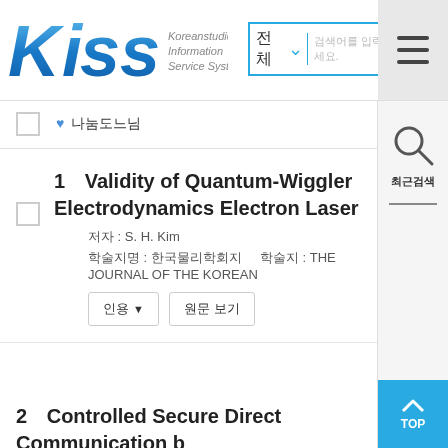[Figure (logo): KISS - Koreanstudies Information Service System logo with blue stylized letters]
KISS Koreanstudies Information Service System
♥ 나눔도느님
1  Validity of Quantum-Wiggler Electrodynamics Electron Laser
저자 : S. H. Kim
학술지명 : 한국물리학회지   학술지 : THE JOURNAL OF THE KOREAN
2  Controlled Secure Direct Communication b